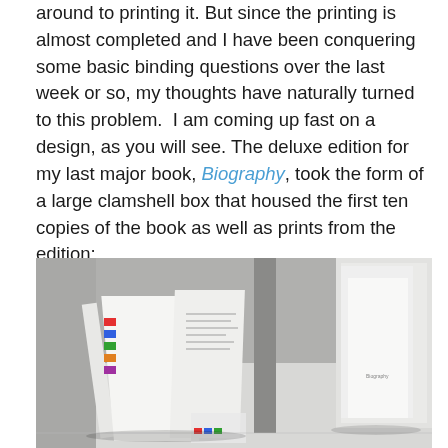around to printing it. But since the printing is almost completed and I have been conquering some basic binding questions over the last week or so, my thoughts have naturally turned to this problem.  I am coming up fast on a design, as you will see. The deluxe edition for my last major book, Biography, took the form of a large clamshell box that housed the first ten copies of the book as well as prints from the edition:
[Figure (photo): Photograph of an open clamshell box containing multiple white books/volumes arranged inside, with colorful tabs visible on one book's pages, shot on a gray surface.]